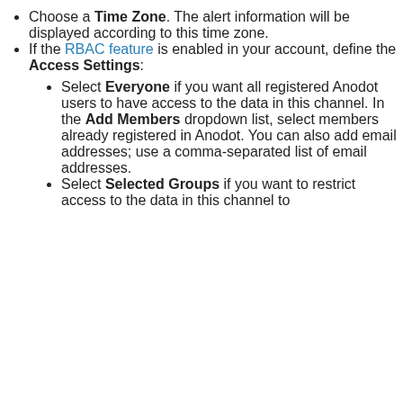Choose a Time Zone. The alert information will be displayed according to this time zone.
If the RBAC feature is enabled in your account, define the Access Settings:
Select Everyone if you want all registered Anodot users to have access to the data in this channel. In the Add Members dropdown list, select members already registered in Anodot. You can also add email addresses; use a comma-separated list of email addresses.
Select Selected Groups if you want to restrict access to the data in this channel to